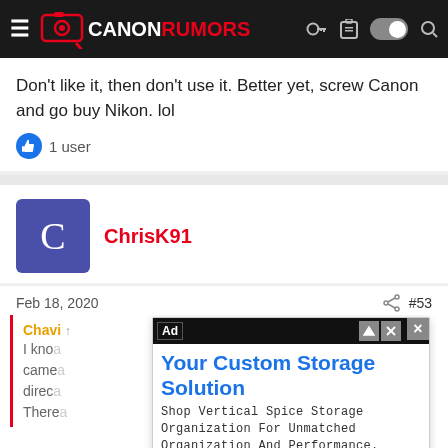Canon Rumors (navigation bar)
Don't like it, then don't use it. Better yet, screw Canon and go buy Nikon. lol
1 user
ChrisK91
Feb 18, 2020  #53
Chavi... [quoted reply] I know... camera... directly... There...
[Figure (screenshot): Advertisement overlay: 'Your Custom Storage Solution' - Shop Vertical Spice Storage Organization For Unmatched Organization And Performance. Vertical Spice. Shop Now button.]